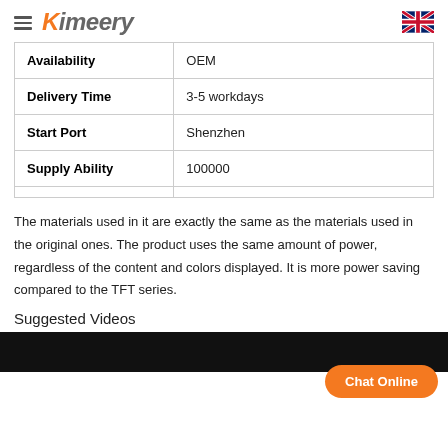Kimeery
| Availability | OEM |
| Delivery Time | 3-5 workdays |
| Start Port | Shenzhen |
| Supply Ability | 100000 |
|  |  |
The materials used in it are exactly the same as the materials used in the original ones. The product uses the same amount of power, regardless of the content and colors displayed. It is more power saving compared to the TFT series.
Suggested Videos
[Figure (screenshot): Black video bar area at bottom of page]
Chat Online